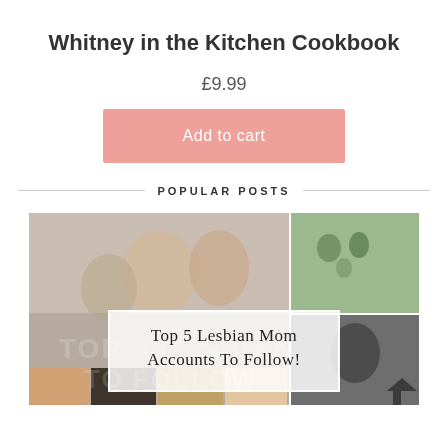Whitney in the Kitchen Cookbook
£9.99
Add to cart
POPULAR POSTS
[Figure (photo): Photo collage of lesbian mom families with overlay text reading 'Top 5 Lesbian Mom Accounts To Follow!']